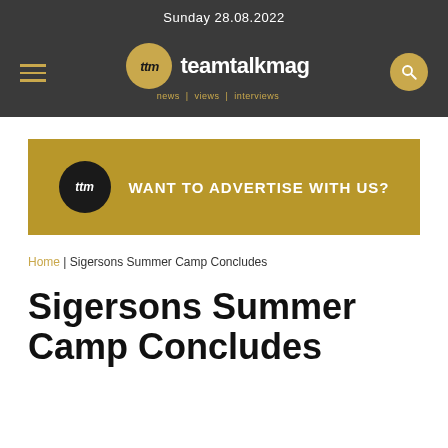Sunday 28.08.2022
[Figure (logo): teamtalkmag logo with ttm emblem in gold circle, tagline: news | views | interviews]
[Figure (infographic): Gold advertisement banner with ttm logo circle and text: WANT TO ADVERTISE WITH US?]
Home | Sigersons Summer Camp Concludes
Sigersons Summer Camp Concludes